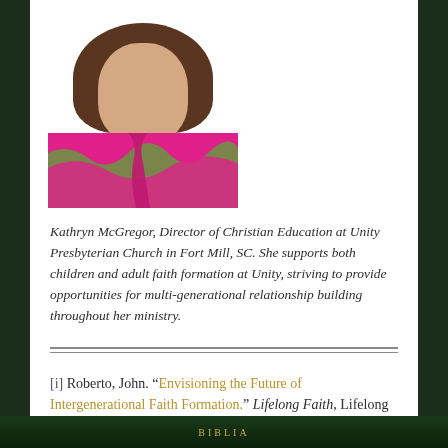[Figure (photo): Headshot of Kathryn McGregor, a woman with long brown hair wearing a bright pink and green floral top, photographed outdoors with green foliage in background.]
Kathryn McGregor, Director of Christian Education at Unity Presbyterian Church in Fort Mill, SC. She supports both children and adult faith formation at Unity, striving to provide opportunities for multi-generational relationship building throughout her ministry.
[i] Roberto, John. “Envisioning the Future of Intergenerational Faith Formation.” Lifelong Faith, Lifelong Faith Associates.